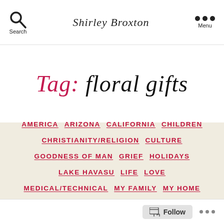Shirley Broxton
Tag: floral gifts
AMERICA  ARIZONA  CALIFORNIA  CHILDREN  CHRISTIANITY/RELIGION  CULTURE  GOODNESS OF MAN  GRIEF  HOLIDAYS  LAKE HAVASU  LIFE  LOVE  MEDICAL/TECHNICAL  MY FAMILY  MY HOME  PENTECOSTAL  PHOTOGRAPHY  SOCIAL
Follow